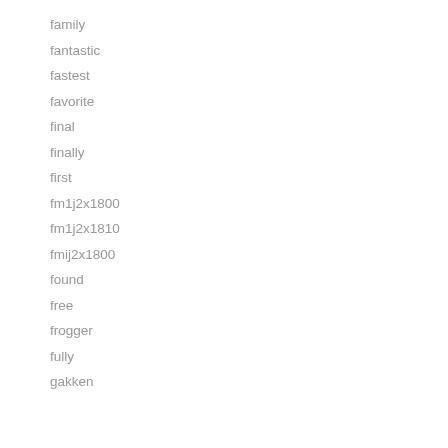family
fantastic
fastest
favorite
final
finally
first
fm1j2x1800
fm1j2x1810
fmij2x1800
found
free
frogger
fully
gakken